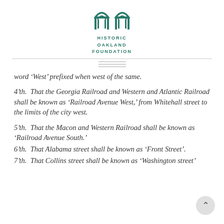[Figure (logo): Historic Oakland Foundation logo — two arch/gate structures in teal/green above the text HISTORIC OAKLAND FOUNDATION]
word ‘West’ prefixed when west of the same.
4’th.  That the Georgia Railroad and Western and Atlantic Railroad shall be known as ‘Railroad Avenue West,’ from Whitehall street to the limits of the city west.
5’th.  That the Macon and Western Railroad shall be known as ‘Railroad Avenue South.’
6’th.  That Alabama street shall be known as ‘Front Street’.
7’th.  That Collins street shall be known as ‘Washington street’